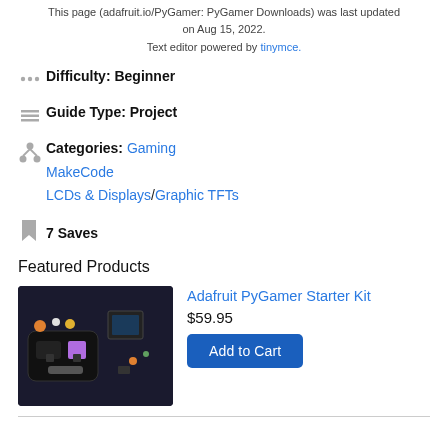This page (adafruit.io/PyGamer: PyGamer Downloads) was last updated on Aug 15, 2022.
Text editor powered by tinymce.
Difficulty: Beginner
Guide Type: Project
Categories: Gaming MakeCode LCDs & Displays/Graphic TFTs
7 Saves
Featured Products
Adafruit PyGamer Starter Kit
$59.95
Add to Cart